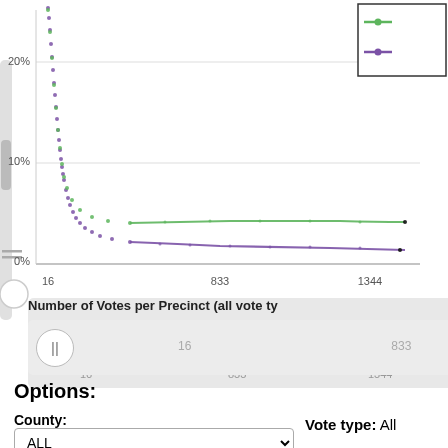[Figure (continuous-plot): Scatter/line plot showing percentage (y-axis 0%-20%+) vs Number of Votes per Precinct (x-axis: 16, 833, 1344). Two series: green line and purple line. Both start high near 20%+ at x=16 and drop sharply, then level off near 5% (green) and 3% (purple) for larger precincts. Top-right legend box shows green and purple lines.]
Number of Votes per Precinct (all vote ty
Options:
County:
ALL
Vote type: All
Count votes:
By number of votes
Graph type:
Series